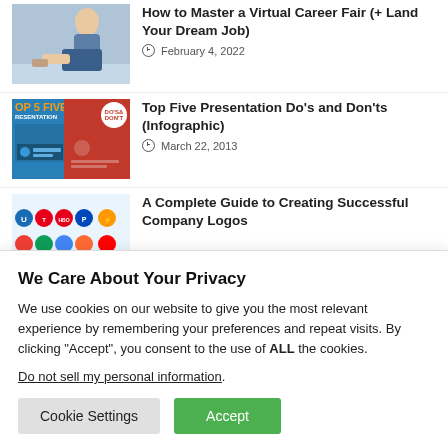[Figure (photo): Thumbnail of woman sitting with laptop for Virtual Career Fair article]
How to Master a Virtual Career Fair (+ Land Your Dream Job)
February 4, 2022
[Figure (infographic): Thumbnail showing Top 5 Five Presentation Do's and Don'ts infographic]
Top Five Presentation Do's and Don'ts (Infographic)
March 22, 2013
[Figure (photo): Thumbnail showing company logos including Unilever, Toyota, HBO, Pepsi and others]
A Complete Guide to Creating Successful Company Logos
We Care About Your Privacy
We use cookies on our website to give you the most relevant experience by remembering your preferences and repeat visits. By clicking “Accept”, you consent to the use of ALL the cookies.
Do not sell my personal information.
Cookie Settings
Accept